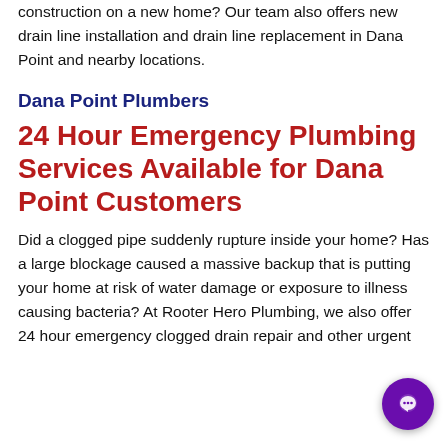construction on a new home? Our team also offers new drain line installation and drain line replacement in Dana Point and nearby locations.
Dana Point Plumbers
24 Hour Emergency Plumbing Services Available for Dana Point Customers
Did a clogged pipe suddenly rupture inside your home? Has a large blockage caused a massive backup that is putting your home at risk of water damage or exposure to illness causing bacteria? At Rooter Hero Plumbing, we also offer 24 hour emergency clogged drain repair and other urgent